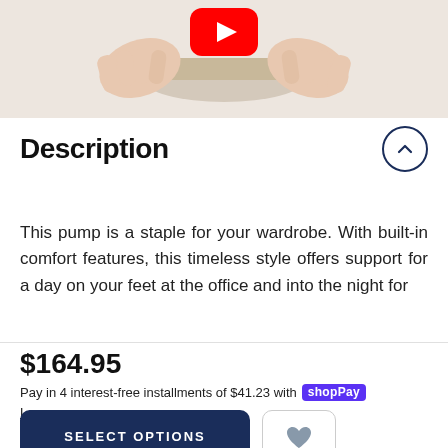[Figure (photo): Hands holding a shoe/hat product with a YouTube play button overlay at the top]
Description
This pump is a staple for your wardrobe. With built-in comfort features, this timeless style offers support for a day on your feet at the office and into the night for
$164.95
Pay in 4 interest-free installments of $41.23 with Shop Pay
Learn more